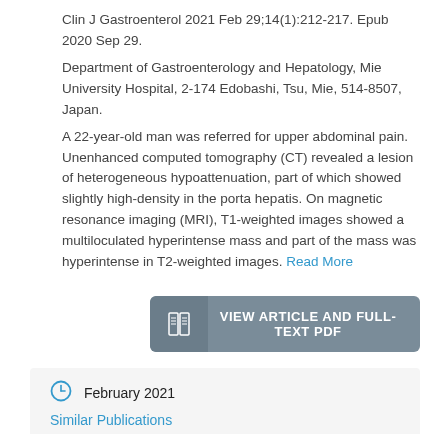Clin J Gastroenterol 2021 Feb 29;14(1):212-217. Epub 2020 Sep 29.
Department of Gastroenterology and Hepatology, Mie University Hospital, 2-174 Edobashi, Tsu, Mie, 514-8507, Japan.
A 22-year-old man was referred for upper abdominal pain. Unenhanced computed tomography (CT) revealed a lesion of heterogeneous hypoattenuation, part of which showed slightly high-density in the porta hepatis. On magnetic resonance imaging (MRI), T1-weighted images showed a multiloculated hyperintense mass and part of the mass was hyperintense in T2-weighted images. Read More
VIEW ARTICLE AND FULL-TEXT PDF
February 2021
Similar Publications